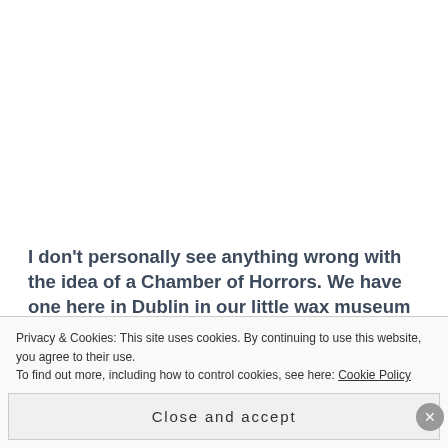I don't personally see anything wrong with the idea of a Chamber of Horrors. We have one here in Dublin in our little wax museum with Hannibal Lecter in it and Buffalo Bill from SILENCE OF THE LAMBS, as well as Dracula (modelled on Christopher Lee in the Hammer films) in his coffin and Freddie Krueger from the NIGHTMARE ON ELM STREET movies.
Privacy & Cookies: This site uses cookies. By continuing to use this website, you agree to their use. To find out more, including how to control cookies, see here: Cookie Policy
Close and accept